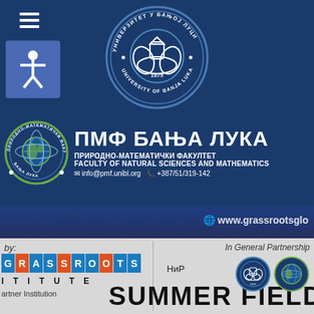[Figure (logo): University of Banja Luka circular seal/logo in white on dark blue background]
ПМФ БАЊА ЛУКА
ПРИРОДНО-МАТЕМАТИЧКИ ФАКУЛТЕТ
FACULTY OF NATURAL SCIENCES AND MATHEMATICS
info@pmf.unibl.org  +387/51/319-142
www.grassrootsglo
by:
In General Partnership
[Figure (logo): Grassroots Institute logo with colored letter blocks]
I T I T U T E
artner Institution
НиР
SUMMER FIELD
[Figure (logo): University of Banja Luka seal (small)]
[Figure (logo): Faculty of Natural Sciences seal (small)]